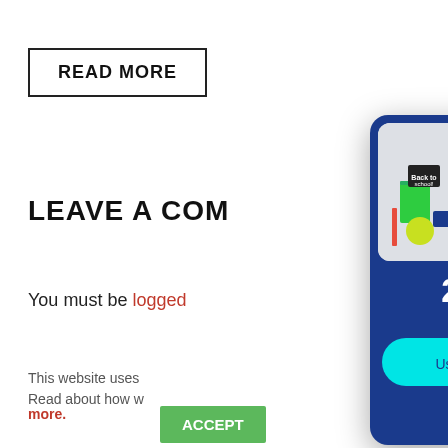READ MORE
LEAVE A CO[MMENT]
You must be logged [in to post a comment.]
This website uses [cookies.] Read about how w[e use cookies.]
more.
ACCEPT
[Figure (infographic): Back to School Sale popup: 25% OFF Regular-Priced Items, Use Code: SCHOOL, SHOP NOW, *Exclusions apply. Plus free ground shipping on purchases over $75. Details]